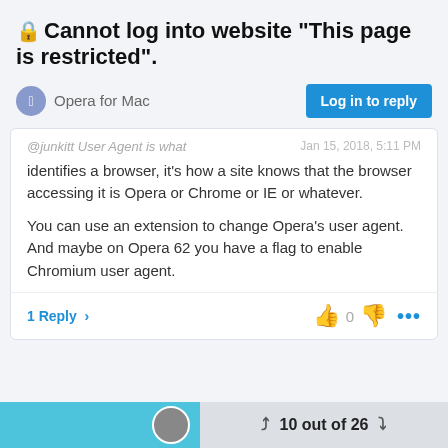🔒Cannot log into website "This page is restricted".
Opera for Mac
@junkitt User Agent is what identifies a browser, it's how a site knows that the browser accessing it is Opera or Chrome or IE or whatever.

You can use an extension to change Opera's user agent.
And maybe on Opera 62 you have a flag to enable Chromium user agent.
1 Reply >
10 out of 26